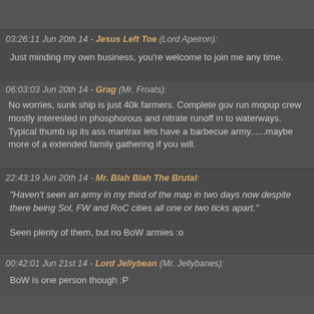03:26:11 Jun 20th 14 - Jesus Left Toe (Lord Apeiron):
Just minding my own business, you're welcome to join me any time.
06:03:03 Jun 20th 14 - Grag (Mr. Froats):
No worries, sunk ship is just 40k farmers.   Complete gov run mopup crew mostly interested in phosphorous and nitrate runoff in to waterways.
Typical thumb up its ass mantrax lets have a barbecue army......maybe more of a extended family gathering if you will.
22:43:19 Jun 20th 14 - Mr. Blah Blah The Brutal:
"Haven't seen an army in my third of the map in two days now despite there being Sol, FW and RoC cities all one or two ticks apart."
Seen plenty of them, but no BoW armies :o
00:42:01 Jun 21st 14 - Lord Jellybean (Mr. Jellybanes):
BoW is one person though :P